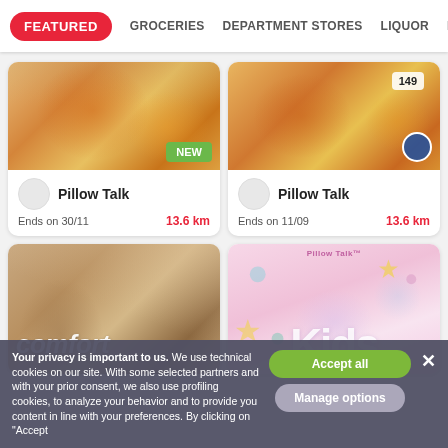FEATURED | GROCERIES | DEPARTMENT STORES | LIQUOR | ELECT
[Figure (photo): Pillow Talk catalog card 1 - orange floral bedding with NEW badge]
Pillow Talk
Ends on 30/11
13.6 km
[Figure (photo): Pillow Talk catalog card 2 - orange floral bedding with $149 price tag]
Pillow Talk
Ends on 11/09
13.6 km
[Figure (photo): Comfort catalog - cozy bedroom with pillows and blankets, 'comfort' text overlay]
[Figure (photo): Pillow Talk Kids catalog - pink background with large KIDS letters and colorful illustrations]
Your privacy is important to us. We use technical cookies on our site. With some selected partners and with your prior consent, we also use profiling cookies, to analyze your behavior and to provide you content in line with your preferences. By clicking on "Accept
Accept all
Manage options